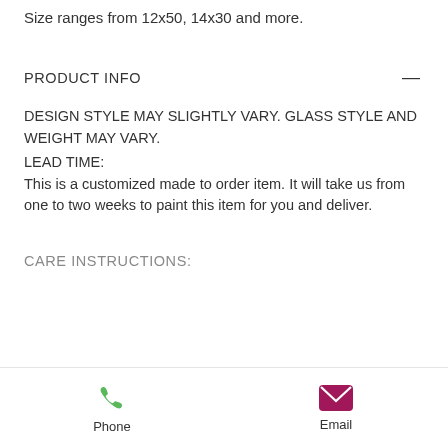Size ranges from 12x50, 14x30 and more.
PRODUCT INFO
DESIGN STYLE MAY SLIGHTLY VARY. GLASS STYLE AND WEIGHT MAY VARY.
LEAD TIME:
This is a customized made to order item. It will take us from one to two weeks to paint this item for you and deliver.
CARE INSTRUCTIONS:
Phone  Email